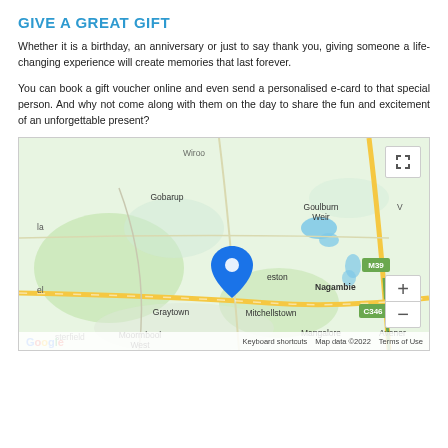GIVE A GREAT GIFT
Whether it is a birthday, an anniversary or just to say thank you, giving someone a life-changing experience will create memories that last forever.
You can book a gift voucher online and even send a personalised e-card to that special person. And why not come along with them on the day to share the fun and excitement of an unforgettable present?
[Figure (map): Google map showing Nagambie, Victoria area with towns: Gobarup, Goulburn Weir, Nagambie, Graytown, Mitchellstown, Moormbool West, Mangalore, Avener, with a blue location pin and route M39 and C346 marked. Zoom controls and fullscreen button visible. Map data ©2022.]